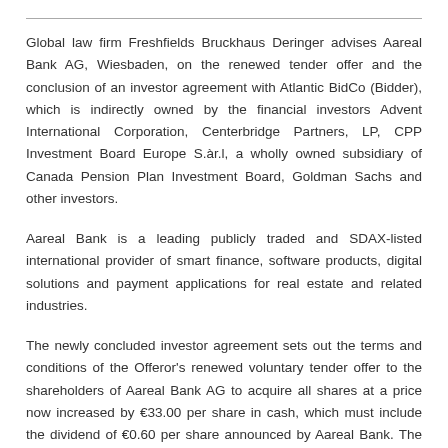Global law firm Freshfields Bruckhaus Deringer advises Aareal Bank AG, Wiesbaden, on the renewed tender offer and the conclusion of an investor agreement with Atlantic BidCo (Bidder), which is indirectly owned by the financial investors Advent International Corporation, Centerbridge Partners, LP, CPP Investment Board Europe S.àr.l, a wholly owned subsidiary of Canada Pension Plan Investment Board, Goldman Sachs and other investors.
Aareal Bank is a leading publicly traded and SDAX-listed international provider of smart finance, software products, digital solutions and payment applications for real estate and related industries.
The newly concluded investor agreement sets out the terms and conditions of the Offeror's renewed voluntary tender offer to the shareholders of Aareal Bank AG to acquire all shares at a price now increased by €33.00 per share in cash, which must include the dividend of €0.60 per share announced by Aareal Bank. The newly...